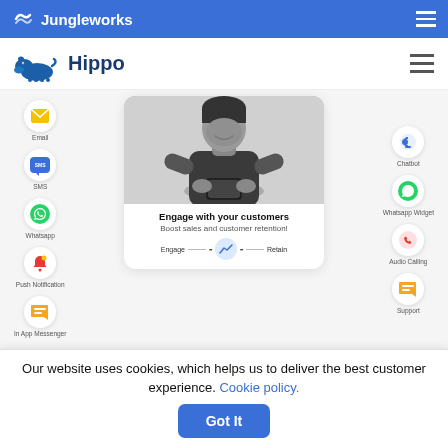Jungleworks
Hippo
[Figure (infographic): Infographic showing customer engagement channels: Email, SMS, Whatsapp, Push Notification, In App Messenger on the left; Chatbot, Whatsapp Widget, Audio Calling, Support on the right; center card with person holding phone, title 'Engage with your customers', subtitle 'Boost sales and customer retention!', and Engage/Retain bar at the bottom.]
Our website uses cookies, which helps us to deliver the best customer experience. Cookie policy. Got It